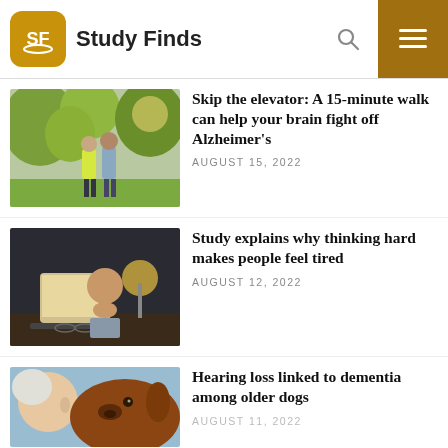Study Finds
[Figure (photo): Two elderly people walking outdoors in a sunny park, one in a yellow vest]
Skip the elevator: A 15-minute walk can help your brain fight off Alzheimer's
AUGUST 15, 2022
[Figure (photo): Man sitting at a laptop looking tired, resting his chin on his hand]
Study explains why thinking hard makes people feel tired
AUGUST 12, 2022
[Figure (photo): Woman face-to-face with a brown dog, close up]
Hearing loss linked to dementia among older dogs
AUGUST 11, 2022